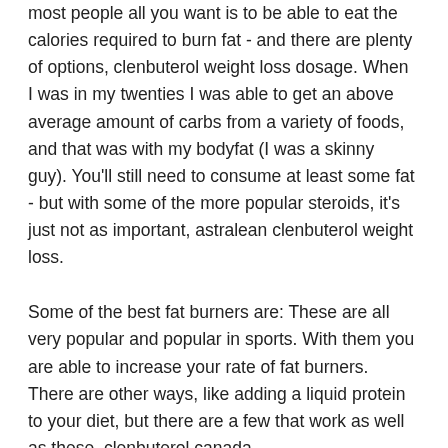most people all you want is to be able to eat the calories required to burn fat - and there are plenty of options, clenbuterol weight loss dosage. When I was in my twenties I was able to get an above average amount of carbs from a variety of foods, and that was with my bodyfat (I was a skinny guy). You'll still need to consume at least some fat - but with some of the more popular steroids, it's just not as important, astralean clenbuterol weight loss.
Some of the best fat burners are: These are all very popular and popular in sports. With them you are able to increase your rate of fat burners. There are other ways, like adding a liquid protein to your diet, but there are a few that work as well as these, clenbuterol canada.
Here is an example of a popular fat burner: